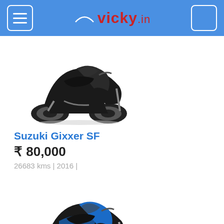vicky.in
[Figure (photo): Black Suzuki Gixxer SF motorcycle side view]
Suzuki Gixxer SF
₹ 80,000
26683 kms | 2016 |
[Figure (photo): Blue and black Bajaj Pulsar RS200 motorcycle side view]
Bajaj Pulsar RS200